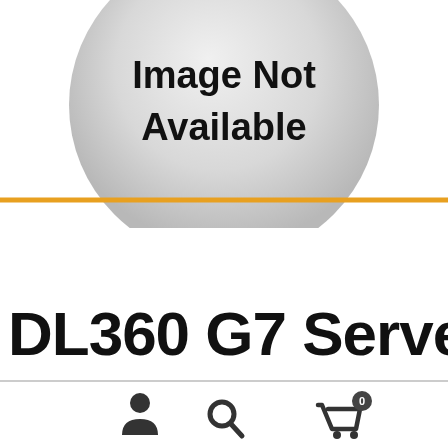[Figure (illustration): Circular gray placeholder image with bold text 'Image Not Available' centered inside, on a white background with an orange horizontal dividing line below the circle]
DL360 G7 Server
[Figure (infographic): Bottom navigation bar with three icons: person/user icon on left, magnifying glass/search icon in center, shopping cart with badge showing '0' on right]